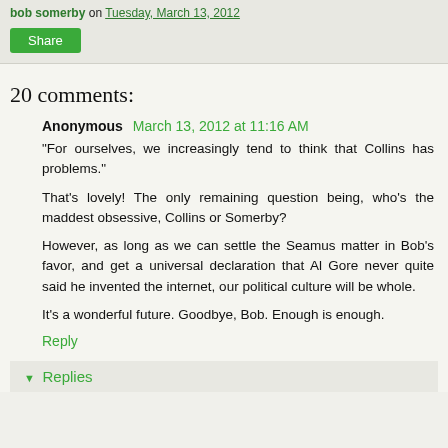bob somerby on Tuesday, March 13, 2012
Share
20 comments:
Anonymous March 13, 2012 at 11:16 AM
"For ourselves, we increasingly tend to think that Collins has problems."

That's lovely! The only remaining question being, who's the maddest obsessive, Collins or Somerby?

However, as long as we can settle the Seamus matter in Bob's favor, and get a universal declaration that Al Gore never quite said he invented the internet, our political culture will be whole.

It's a wonderful future. Goodbye, Bob. Enough is enough.
Reply
Replies